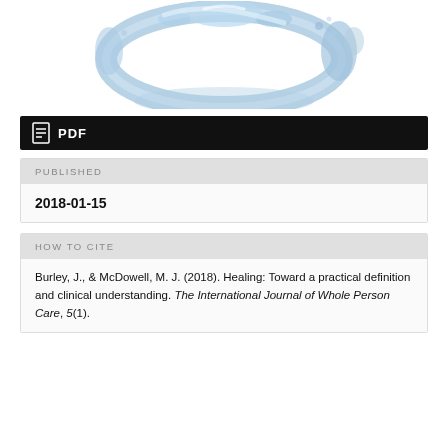[Figure (photo): Water splash forming a circular ring shape on white background]
PDF
PUBLISHED
2018-01-15
HOW TO CITE
Burley, J., & McDowell, M. J. (2018). Healing: Toward a practical definition and clinical understanding. The International Journal of Whole Person Care, 5(1).